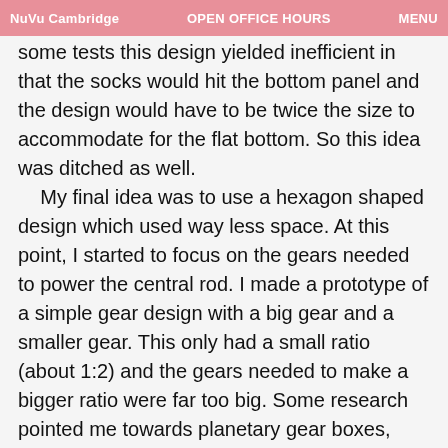NuVu Cambridge   OPEN OFFICE HOURS   MENU
some tests this design yielded inefficient in that the socks would hit the bottom panel and the design would have to be twice the size to accommodate for the flat bottom. So this idea was ditched as well.
    My final idea was to use a hexagon shaped design which used way less space. At this point, I started to focus on the gears needed to power the central rod. I made a prototype of a simple gear design with a big gear and a smaller gear. This only had a small ratio (about 1:2) and the gears needed to make a bigger ratio were far too big. Some research pointed me towards planetary gear boxes, which had a outer “ring gear” and a smaller internal “planet gear”. I decided on this method and mounted it to the sock dryer with some bearings. A handle was accomplished by 3D